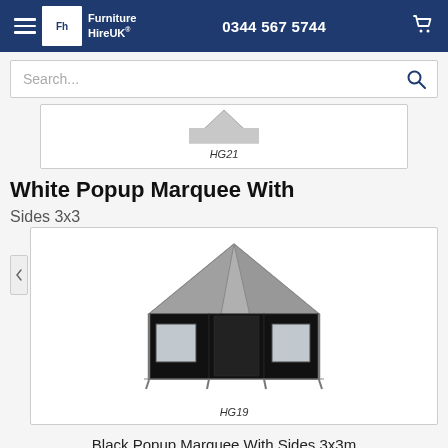Furniture Hire UK | 0344 567 5744
Search...
[Figure (photo): Partial product card showing HG21 label — top of a popup marquee tent, partially cropped]
White Popup Marquee With Sides 3x3
[Figure (photo): Black popup marquee tent with sides, product code HG19. The tent has a grey roof and black side walls with clear windows. Shown in three-quarter view.]
Black Popup Marquee With Sides 3x3m
£225.00 / 1-7 days